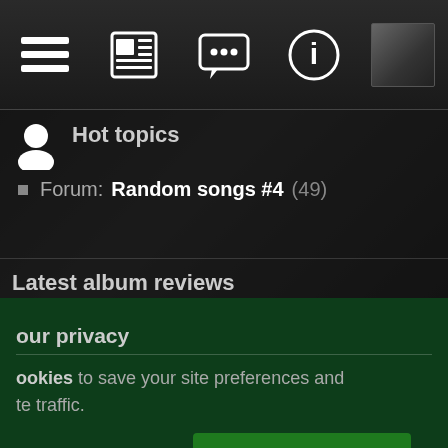[Figure (screenshot): Top navigation bar with 5 icons: list/menu icon, newspaper icon, chat/message icon, info circle icon, and a small thumbnail image]
Hot topics
Forum: Random songs #4 (49)
Latest album reviews
your privacy
ookies to save your site preferences and te traffic.
View Cookie Policy   Accept cookies